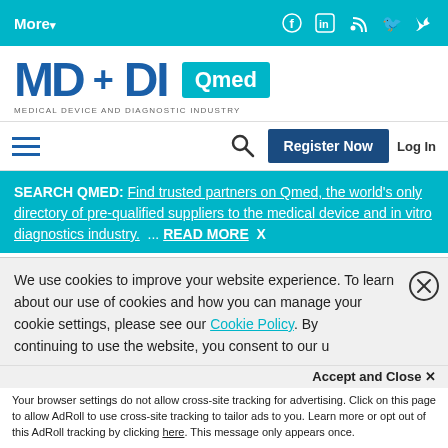More▾  [social icons: Facebook, LinkedIn, RSS, Twitter]
[Figure (logo): MD+DI Qmed logo — Medical Device and Diagnostic Industry]
hamburger menu | search icon | Register Now | Log In
SEARCH QMED: Find trusted partners on Qmed, the world's only directory of pre-qualified suppliers to the medical device and in vitro diagnostics industry. ... READ MORE  X
cash to help fund the purchase of Covidien.
Mahoney and the senior executive team have been delivering on a turnaround story for six straight
We use cookies to improve your website experience. To learn about our use of cookies and how you can manage your cookie settings, please see our Cookie Policy. By continuing to use the website, you consent to our use
Accept and Close ✕
Your browser settings do not allow cross-site tracking for advertising. Click on this page to allow AdRoll to use cross-site tracking to tailor ads to you. Learn more or opt out of this AdRoll tracking by clicking here. This message only appears once.